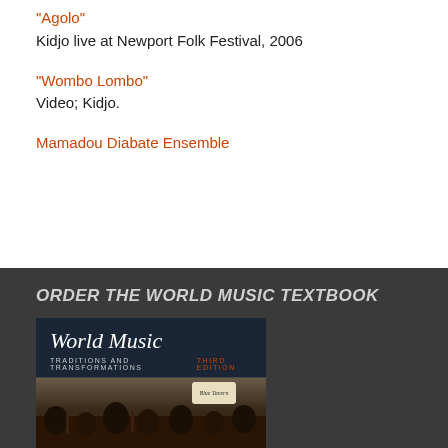“Agolo”
Kidjo live at Newport Folk Festival, 2006
“Wombo Lombo”
Video; Kidjo.
Mamadou Diabate Ensemble
ORDER THE WORLD MUSIC TEXTBOOK
[Figure (photo): Cover of the World Music: Traditions and Transformations, Third Edition textbook, showing the title in italic serif font on a dark background, with a photo of a live band performance below.]